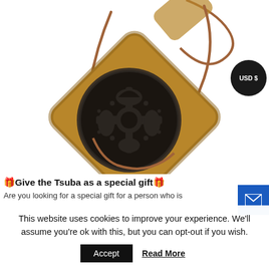[Figure (photo): A wooden Tsuba pendant/necklace with a carved dark metal circular medallion featuring decorative cutout patterns, sitting on a golden-brown square wooden piece, with a brown leather cord.]
🎁Give the Tsuba as a special gift🎁
Are you looking for a special gift for a person who is
This website uses cookies to improve your experience. We'll assume you're ok with this, but you can opt-out if you wish.
Accept
Read More